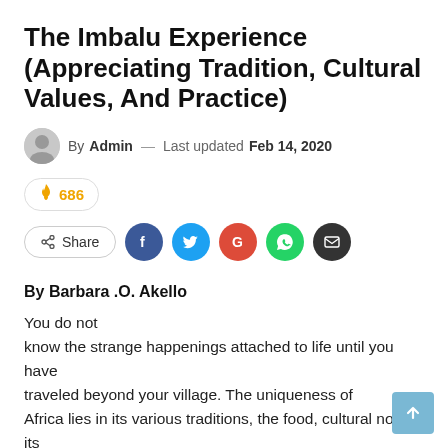The Imbalu Experience (Appreciating Tradition, Cultural Values, And Practice)
By Admin — Last updated Feb 14, 2020
🔥 686
Share
By Barbara .O. Akello
You do not
know the strange happenings attached to life until you have traveled beyond your village. The uniqueness of
Africa lies in its various traditions, the food, cultural norms, its people,
rites of passage from one stage to another, dressing and hair